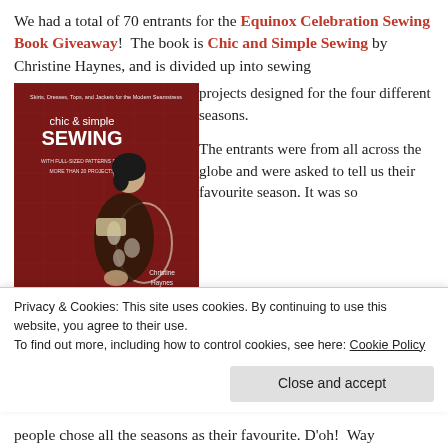We had a total of 70 entrants for the Equinox Celebration Sewing Book Giveaway!  The book is Chic and Simple Sewing by Christine Haynes, and is divided up into sewing
[Figure (photo): Book cover for 'Chic & Simple Sewing' by Christine Haynes showing a woman in a black and white floral dress seated in a white chair against a red background. Text on cover reads: 'Skirts, Dresses, Tops, and Jackets for the Modern Seamstress', 'chic & simple SEWING', 'WITH FULL-SIZED PATTERNS FOR MORE THAN 20 PROJECTS', 'Christine Haynes'.]
projects designed for the four different seasons.

The entrants were from all across the globe and were asked to tell us their favourite season. It was so
Privacy & Cookies: This site uses cookies. By continuing to use this website, you agree to their use.
To find out more, including how to control cookies, see here: Cookie Policy
Close and accept
people chose all the seasons as their favourite. D'oh!  Way